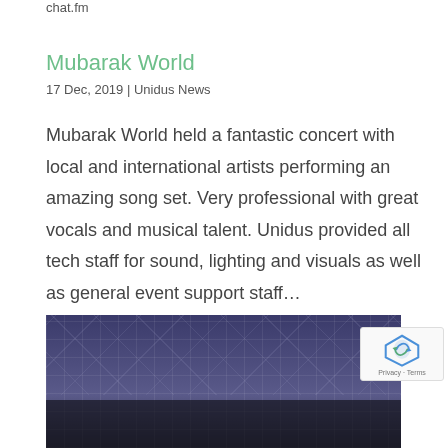chat.fm
Mubarak World
17 Dec, 2019 | Unidus News
Mubarak World held a fantastic concert with local and international artists performing an amazing song set. Very professional with great vocals and musical talent. Unidus provided all tech staff for sound, lighting and visuals as well as general event support staff...
[Figure (photo): Concert stage photo with performers and audience, featuring a lit stage backdrop with grid/X pattern lighting and silhouetted crowd in foreground]